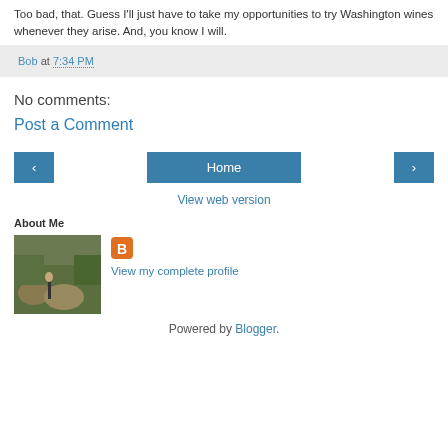Too bad, that. Guess I'll just have to take my opportunities to try Washington wines whenever they arise. And, you know I will.
Bob at 7:34 PM
No comments:
Post a Comment
< Home >
View web version
About Me
[Figure (photo): Photo of a person with hay bales in a field]
View my complete profile
Powered by Blogger.